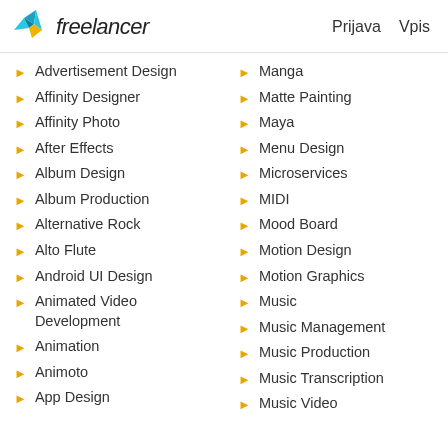Freelancer — Prijava  Vpis
Advertisement Design
Affinity Designer
Affinity Photo
After Effects
Album Design
Album Production
Alternative Rock
Alto Flute
Android UI Design
Animated Video Development
Animation
Animoto
App Design
Manga
Matte Painting
Maya
Menu Design
Microservices
MIDI
Mood Board
Motion Design
Motion Graphics
Music
Music Management
Music Production
Music Transcription
Music Video